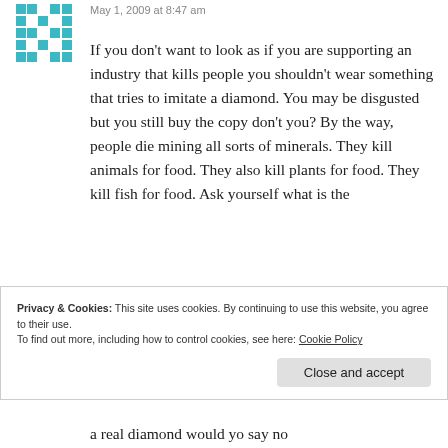[Figure (illustration): Teal/cyan pixel-art style avatar icon in top left corner]
May 1, 2009 at 8:47 am
If you don't want to look as if you are supporting an industry that kills people you shouldn't wear something that tries to imitate a diamond. You may be disgusted but you still buy the copy don't you? By the way, people die mining all sorts of minerals. They kill animals for food. They also kill plants for food. They kill fish for food. Ask yourself what is the
Privacy & Cookies: This site uses cookies. By continuing to use this website, you agree to their use.
To find out more, including how to control cookies, see here: Cookie Policy
Close and accept
a real diamond would yo say no